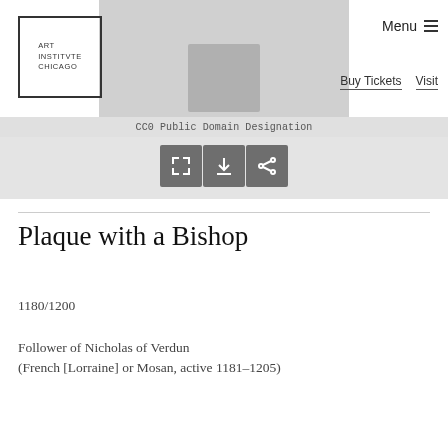[Figure (logo): Art Institute of Chicago logo — square border with text ART INSTITVTE CHICAGO]
[Figure (photo): Partial grayscale image of a plaque artwork on gray background]
Menu
Buy Tickets   Visit
CC0 Public Domain Designation
[Figure (other): Three icon buttons: expand/fullscreen, download, and share]
Plaque with a Bishop
1180/1200
Follower of Nicholas of Verdun
(French [Lorraine] or Mosan, active 1181–1205)